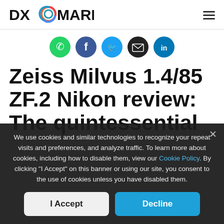DXOMARK
[Figure (illustration): Social sharing icons row: WhatsApp (green), Facebook (dark blue), Twitter (light blue), Email (black), LinkedIn (blue)]
Zeiss Milvus 1.4/85 ZF.2 Nikon review: The quintessential portrait lens
We use cookies and similar technologies to recognize your repeat visits and preferences, and analyze traffic. To learn more about cookies, including how to disable them, view our Cookie Policy. By clicking "I Accept" on this banner or using our site, you consent to the use of cookies unless you have disabled them.